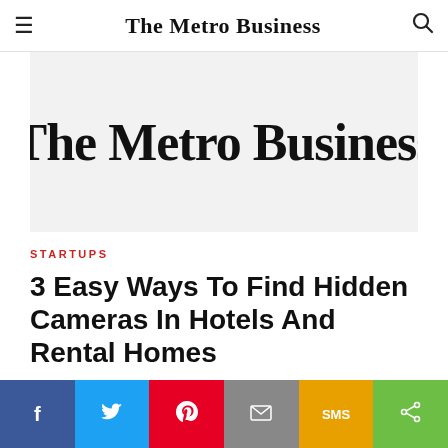The Metro Business
[Figure (logo): The Metro Business newspaper logo in large serif bold text on light grey background]
STARTUPS
3 Easy Ways To Find Hidden Cameras In Hotels And Rental Homes
JUNE 27, 2022